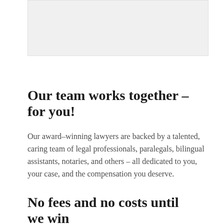[Figure (photo): Placeholder image area at top of page, light gray background]
Our team works together – for you!
Our award–winning lawyers are backed by a talented, caring team of legal professionals, paralegals, bilingual assistants, notaries, and others – all dedicated to you, your case, and the compensation you deserve.
No fees and no costs until we win